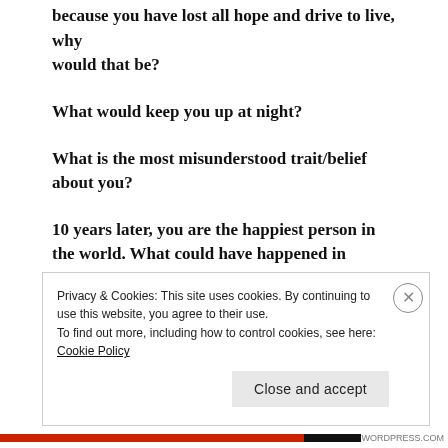because you have lost all hope and drive to live, why would that be?
What would keep you up at night?
What is the most misunderstood trait/belief about you?
10 years later, you are the happiest person in the world. What could have happened in between those 10 years?
Privacy & Cookies: This site uses cookies. By continuing to use this website, you agree to their use. To find out more, including how to control cookies, see here: Cookie Policy
Close and accept